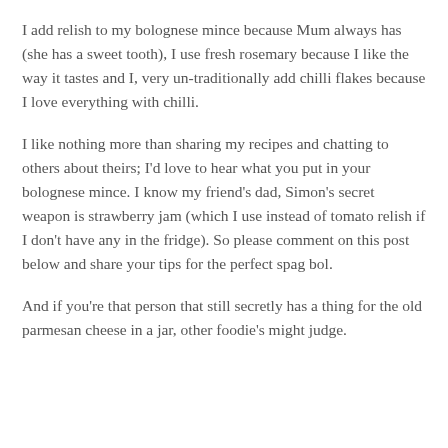I add relish to my bolognese mince because Mum always has (she has a sweet tooth), I use fresh rosemary because I like the way it tastes and I, very un-traditionally add chilli flakes because I love everything with chilli.
I like nothing more than sharing my recipes and chatting to others about theirs; I'd love to hear what you put in your bolognese mince. I know my friend's dad, Simon's secret weapon is strawberry jam (which I use instead of tomato relish if I don't have any in the fridge). So please comment on this post below and share your tips for the perfect spag bol.
And if you're that person that still secretly has a thing for the old parmesan cheese in a jar, other foodie's might judge.